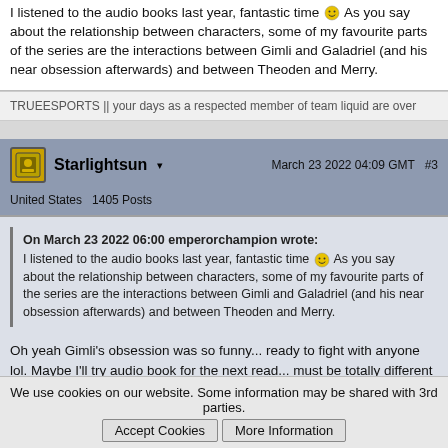I listened to the audio books last year, fantastic time 🙂 As you say about the relationship between characters, some of my favourite parts of the series are the interactions between Gimli and Galadriel (and his near obsession afterwards) and between Theoden and Merry.
TRUEESPORTS || your days as a respected member of team liquid are over
Starlightsun ▾   March 23 2022 04:09 GMT  #3
United States  1405 Posts
On March 23 2022 06:00 emperorchampion wrote:
I listened to the audio books last year, fantastic time 🙂 As you say about the relationship between characters, some of my favourite parts of the series are the interactions between Gimli and Galadriel (and his near obsession afterwards) and between Theoden and Merry.
Oh yeah Gimli's obsession was so funny... ready to fight with anyone lol. Maybe I'll try audio book for the next read... must be totally different to hear all the voices acted out.
We use cookies on our website. Some information may be shared with 3rd parties.  Accept Cookies  More Information